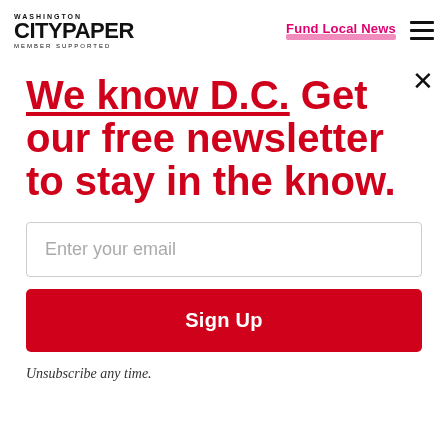WASHINGTON CITYPAPER MEMBER SUPPORTED
up. that each dances as poorly as the next.
We know D.C. Get our free newsletter to stay in the know.
Enter your email
Sign Up
Unsubscribe any time.